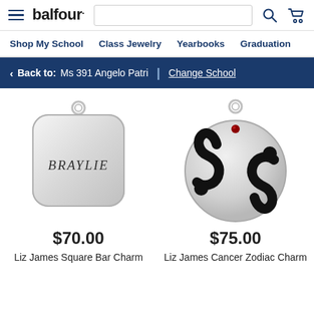balfour.
Shop My School  Class Jewelry  Yearbooks  Graduation  Sc
< Back to: Ms 391 Angelo Patri | Change School
[Figure (photo): Silver square bar charm engraved with BRAYLIE, with a loop at the top]
$70.00
Liz James Square Bar Charm
[Figure (photo): Silver round Cancer zodiac charm with the number 69 in black enamel and a red gemstone at the top, with a loop]
$75.00
Liz James Cancer Zodiac Charm